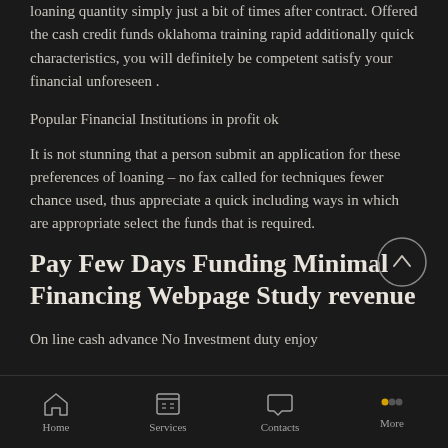loaning quantity simply just a bit of times after contract. Offered the cash credit funds oklahoma training rapid additionally quick characteristics, you will definitely be competent satisfy your financial unforeseen .
Popular Financial Institutions in profit ok
It is not stunning that a person submit an application for these preferences of loaning – no fax called for techniques fewer chance used, thus appreciate a quick including ways in which are appropriate select the funds that is required.
Pay Few Days Funding Minimal Financing Webpage Study revenue
On line cash advance No Investment duty enjoy
Home  Services  Contacts  More